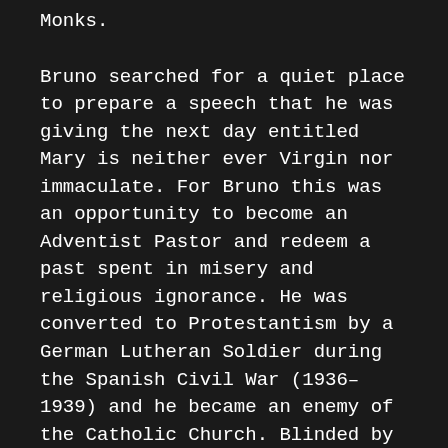Monks.
Bruno searched for a quiet place to prepare a speech that he was giving the next day entitled Mary is neither ever Virgin nor immaculate. For Bruno this was an opportunity to become an Adventist Pastor and redeem a past spent in misery and religious ignorance. He was converted to Protestantism by a German Lutheran Soldier during the Spanish Civil War (1936–1939) and he became an enemy of the Catholic Church. Blinded by hatred, Bruno bought a dagger to murder the Pope. Returning home, he forced his wife Iolanda to also become a protestant. She reluctantly agreed after trying to dissuade him by asking him, as a final hope, to make the nine first Friday's devotion to the Sacred Heart of Jesus.
Bruno sat below a eucalyptus tree, browsing the Bible and started making notes while his children played ball